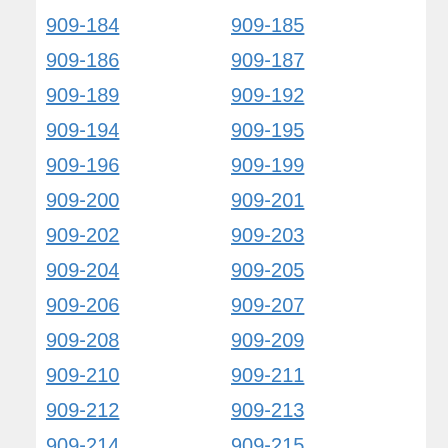909-184
909-185
909-186
909-187
909-189
909-192
909-194
909-195
909-196
909-199
909-200
909-201
909-202
909-203
909-204
909-205
909-206
909-207
909-208
909-209
909-210
909-211
909-212
909-213
909-214
909-215
909-216
909-217